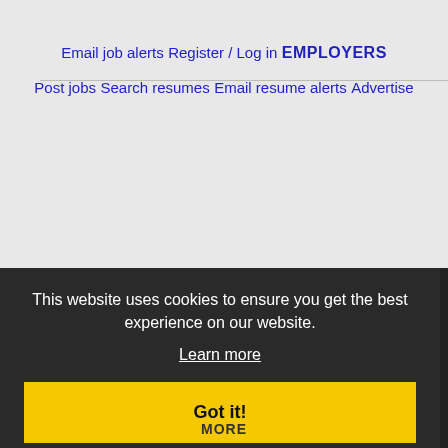Email job alerts
Register / Log in
EMPLOYERS
Post jobs
Search resumes
Email resume alerts
Advertise
This website uses cookies to ensure you get the best experience on our website.
Learn more
Got it!
Post jobs
Immigration FAQs
Learn more
MORE